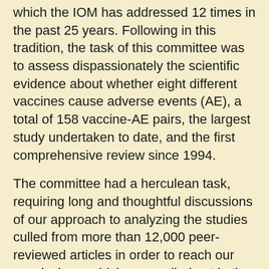which the IOM has addressed 12 times in the past 25 years. Following in this tradition, the task of this committee was to assess dispassionately the scientific evidence about whether eight different vaccines cause adverse events (AE), a total of 158 vaccine-AE pairs, the largest study undertaken to date, and the first comprehensive review since 1994.
The committee had a herculean task, requiring long and thoughtful discussions of our approach to analyzing the studies culled from more than 12,000 peer-reviewed articles in order to reach our conclusions, which are spelled out in the chapters that follow. In the process, we learned some lessons that may be of value for future efforts to evaluate vaccine safety. One is that some issues simply cannot be resolved with currently available epidemiologic data, excellent as some of the collections and studies are."